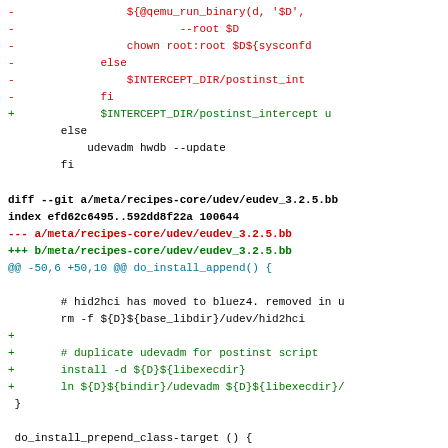[Figure (screenshot): Git diff output showing changes to meta/recipes-core/udev/eudev_3.2.5.bb. Red lines show removed code, green lines show added code, black lines show context. The diff includes changes to postinst_intercept handling and addition of udevadm duplication for postinst script.]